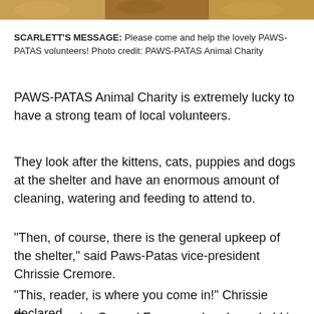[Figure (photo): A cropped photo strip at top of page showing cats or animals, partially visible]
SCARLETT'S MESSAGE: Please come and help the lovely PAWS-PATAS volunteers! Photo credit: PAWS-PATAS Animal Charity
PAWS-PATAS Animal Charity is extremely lucky to have a strong team of local volunteers.
They look after the kittens, cats, puppies and dogs at the shelter and have an enormous amount of cleaning, watering and feeding to attend to.
“Then, of course, there is the general upkeep of the shelter,” said Paws-Patas vice-president Chrissie Cremore.
“This, reader, is where you come in!” Chrissie declared.
The last major Ground Force weekend was held in